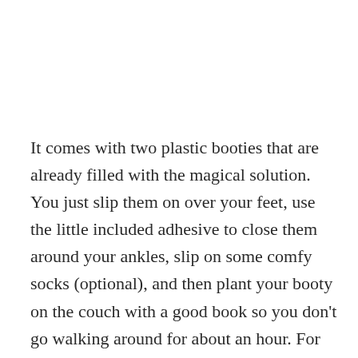It comes with two plastic booties that are already filled with the magical solution. You just slip them on over your feet, use the little included adhesive to close them around your ankles, slip on some comfy socks (optional), and then plant your booty on the couch with a good book so you don't go walking around for about an hour. For best results, you can soak your feet in water first to soften them up so you absorb the most